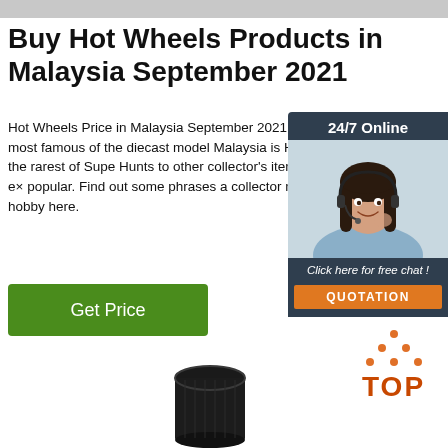Buy Hot Wheels Products in Malaysia September 2021
Hot Wheels Price in Malaysia September 2021. 2 Products. The most famous of the diecast model Malaysia is Hot Wheels. From the rarest of Supe Hunts to other collector's items, Hot Wheels is ex popular. Find out some phrases a collector must with the hobby here.
[Figure (other): Green 'Get Price' button]
[Figure (other): 24/7 Online chat widget with woman wearing headset, 'Click here for free chat!' text and orange QUOTATION button]
[Figure (other): Orange and red TOP button with dot triangle above text]
[Figure (photo): Black cylindrical product/knob at bottom center of page]